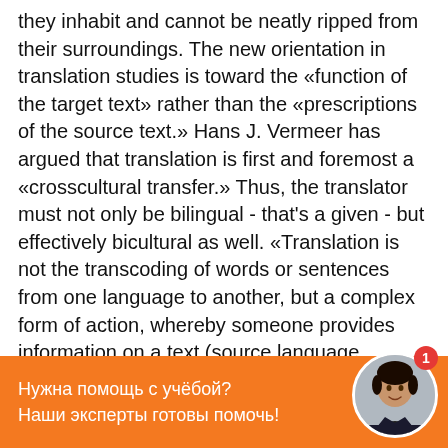they inhabit and cannot be neatly ripped from their surroundings. The new orientation in translation studies is toward the «function of the target text» rather than the «prescriptions of the source text.» Hans J. Vermeer has argued that translation is first and foremost a «crosscultural transfer.» Thus, the translator must not only be bilingual - that's a given - but effectively bicultural as well. «Translation is not the transcoding of words or sentences from one language to another, but a complex form of action, whereby someone provides information on a text (source language material) in a new situation and under changed functional, cultural, and linguistic conditions, preserving formal aspects as closely as possible.»
With the misgivings expressed above, I believe that the cultural turn in translation studies marks a major stride forward, and it can be especially useful to those of us
Нужна помощь с учёбой?
Наши эксперты готовы помочь!